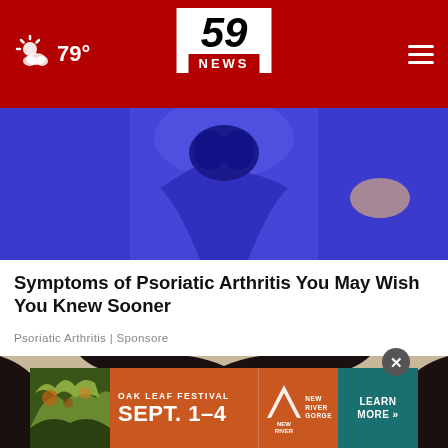59 NEWS — 79°
[Figure (photo): Close-up of a person in blue athletic wear, cropped to show torso/hip area]
Symptoms of Psoriatic Arthritis You May Wish You Knew Sooner
Psoriatic Arthritis | Sponsore
[Figure (photo): Close-up of a young woman with dark hair holding something white near her nose, looking at camera]
[Figure (infographic): Oak Leaf Festival advertisement banner: SEPT. 1-4, New River Gorge, Learn More]